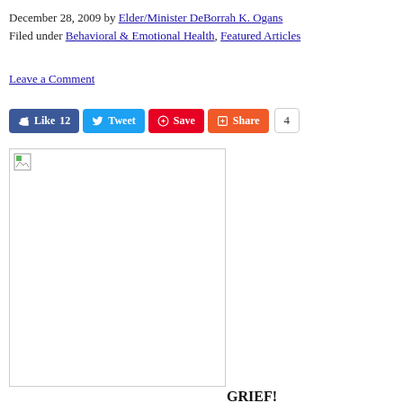December 28, 2009 by Elder/Minister DeBorrah K. Ogans
Filed under Behavioral & Emotional Health, Featured Articles
Leave a Comment
[Figure (screenshot): Social sharing buttons: Like 12 (Facebook blue), Tweet (Twitter blue), Save (Pinterest red), Share (orange), count badge showing 4]
[Figure (photo): Broken/placeholder image in a bordered box]
GRIEF!